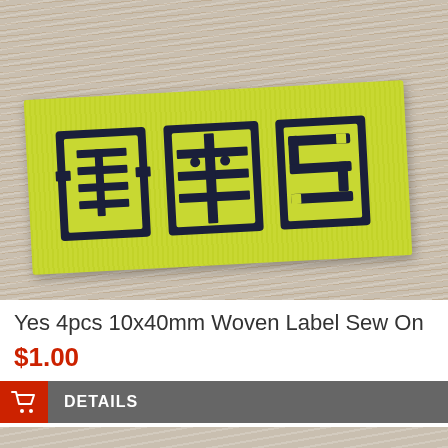[Figure (photo): Close-up photo of a yellow-green woven label with black Chinese characters on a wood grain surface background]
Yes 4pcs 10x40mm Woven Label Sew On
$1.00
DETAILS
[Figure (photo): Partial view of another product image showing a similar woven label on wood grain surface, cropped at bottom of page]